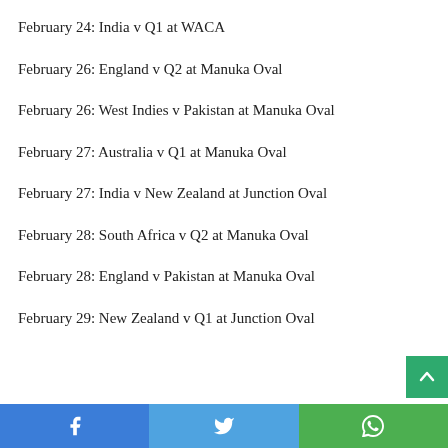February 24: India v Q1 at WACA
February 26: England v Q2 at Manuka Oval
February 26: West Indies v Pakistan at Manuka Oval
February 27: Australia v Q1 at Manuka Oval
February 27: India v New Zealand at Junction Oval
February 28: South Africa v Q2 at Manuka Oval
February 28: England v Pakistan at Manuka Oval
February 29: New Zealand v Q1 at Junction Oval
Facebook | Twitter | WhatsApp